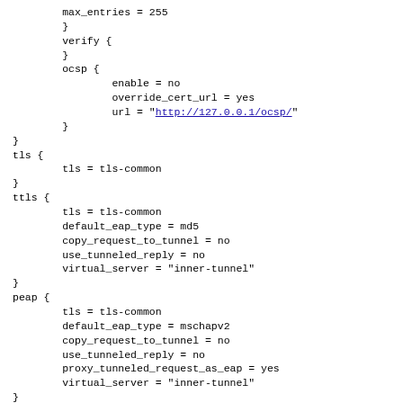max_entries = 255
        }
        verify {
        }
        ocsp {
                enable = no
                override_cert_url = yes
                url = "http://127.0.0.1/ocsp/"
        }
}
tls {
        tls = tls-common
}
ttls {
        tls = tls-common
        default_eap_type = md5
        copy_request_to_tunnel = no
        use_tunneled_reply = no
        virtual_server = "inner-tunnel"
}
peap {
        tls = tls-common
        default_eap_type = mschapv2
        copy_request_to_tunnel = no
        use_tunneled_reply = no
        proxy_tunneled_request_as_eap = yes
        virtual_server = "inner-tunnel"
}
mschapv2 {
}